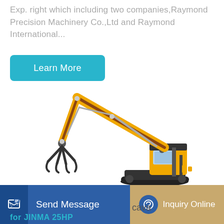Exp. right which including two companies,Raymond Precision Machinery Co.,Ltd and Raymond International...
[Figure (illustration): Yellow excavator / crawler crane with extended arm and grapple/claw attachment at the end, no tracks visible on left side, black cab, white background product photo]
Learn More
Send Message
cava
Inquiry Online
for JINMA 25HP